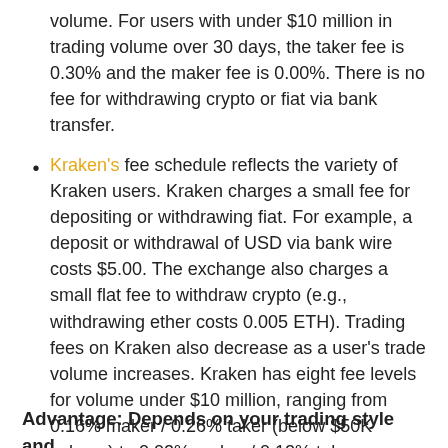volume. For users with under $10 million in trading volume over 30 days, the taker fee is 0.30% and the maker fee is 0.00%. There is no fee for withdrawing crypto or fiat via bank transfer.
Kraken's fee schedule reflects the variety of Kraken users. Kraken charges a small fee for depositing or withdrawing fiat. For example, a deposit or withdrawal of USD via bank wire costs $5.00. The exchange also charges a small flat fee to withdraw crypto (e.g., withdrawing ether costs 0.005 ETH). Trading fees on Kraken also decrease as a user's trade volume increases. Kraken has eight fee levels for volume under $10 million, ranging from 0.16% maker / 0.26% taker (below $50K volume) to 0.02% maker / 0.12% taker (between $5 million and $10 million volume).
Advantage: Depends on your trading style and